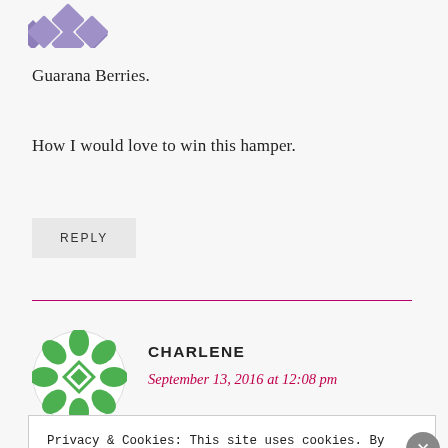[Figure (illustration): Purple decorative snowflake/diamond pattern avatar icon, partially visible at top left]
Guarana Berries.
How I would love to win this hamper.
REPLY
[Figure (illustration): Green decorative circular pattern avatar icon for user Charlene]
CHARLENE
September 13, 2016 at 12:08 pm
Privacy & Cookies: This site uses cookies. By continuing to use this website, you agree to their use.
To find out more, including how to control cookies, see here: Cookie Policy
Close and accept